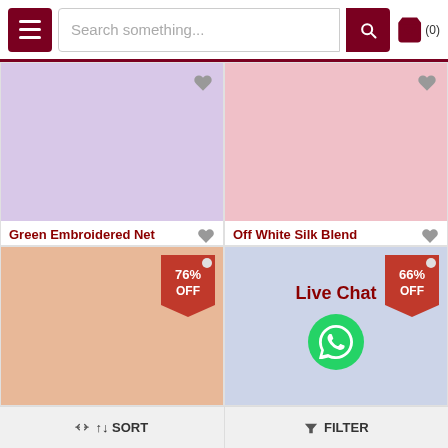Search something...
[Figure (photo): Product image placeholder - lavender/purple color swatch for Green Embroidered Net Salwar]
Green Embroidered Net Salwar
USD 128.14  USD 610.36
[Figure (photo): Product image placeholder - pink color swatch for Off White Silk Blend Anarkali...]
Off White Silk Blend Anarkali...
USD 80.93  USD 238.29
[Figure (photo): Product image placeholder - peach color swatch, 76% OFF tag]
[Figure (photo): Product image placeholder - light blue color swatch, 66% OFF tag, Live Chat overlay with WhatsApp button]
SORT   FILTER